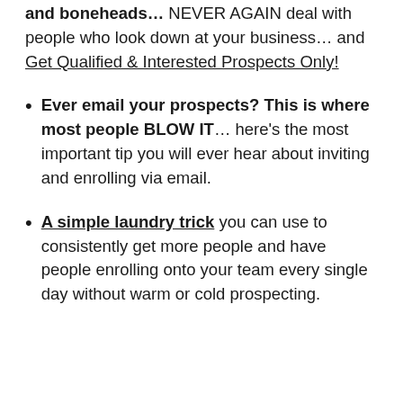and boneheads… NEVER AGAIN deal with people who look down at your business… and Get Qualified & Interested Prospects Only!
Ever email your prospects? This is where most people BLOW IT… here's the most important tip you will ever hear about inviting and enrolling via email.
A simple laundry trick you can use to consistently get more people and have people enrolling onto your team every single day without warm or cold prospecting.